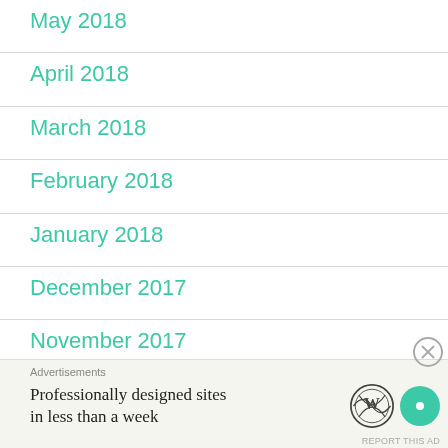May 2018
April 2018
March 2018
February 2018
January 2018
December 2017
November 2017
Advertisements
Professionally designed sites in less than a week